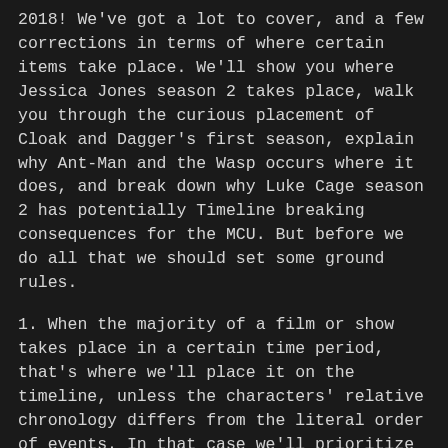2018! We've got a lot to cover, and a few corrections in terms of where certain items take place. We'll show you where Jessica Jones season 2 takes place, walk you through the curious placement of Cloak and Dagger's first season, explain why Ant-Man and the Wasp occurs where it does, and break down why Luke Cage season 2 has potentially Timeline breaking consequences for the MCU. But before we do all that we should set some ground rules.
1. When the majority of a film or show takes place in a certain time period, that's where we'll place it on the timeline, unless the characters' relative chronology differs from the literal order of events. In that case we'll prioritize the character's viewpoint.
2. The end credits scenes often take place at different times than the films they're attached to, and won't affect their placement on this timeline.
3. We won't be starting or stopping films or shows to